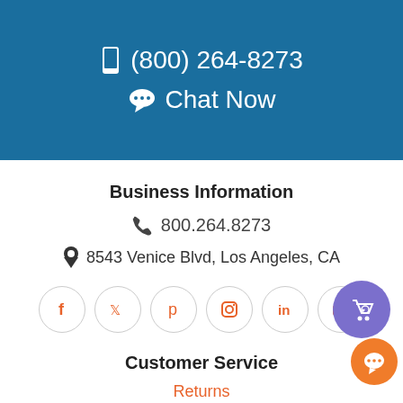📱 (800) 264-8273
💬 Chat Now
Business Information
📞 800.264.8273
📍 8543 Venice Blvd, Los Angeles, CA
[Figure (infographic): Row of 6 social media icon circles: Facebook, Twitter, Pinterest, Instagram, LinkedIn, YouTube]
Customer Service
Returns
Shipping Info